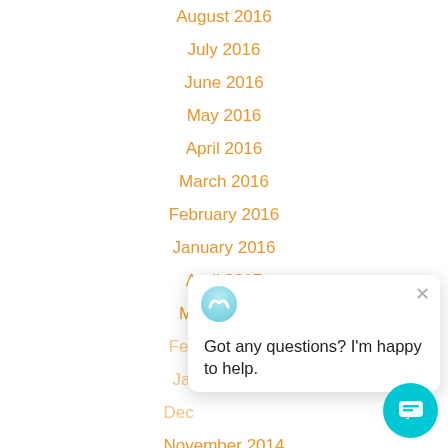August 2016
July 2016
June 2016
May 2016
April 2016
March 2016
February 2016
January 2016
April 2015
March 2015
February 2015
January 2015
December 2014
November 2014
October 2014
September 2014
August 2014
[Figure (screenshot): Chat popup with Wix logo saying 'Got any questions? I'm happy to help.' with a close button and a teal chat bubble button in the bottom right.]